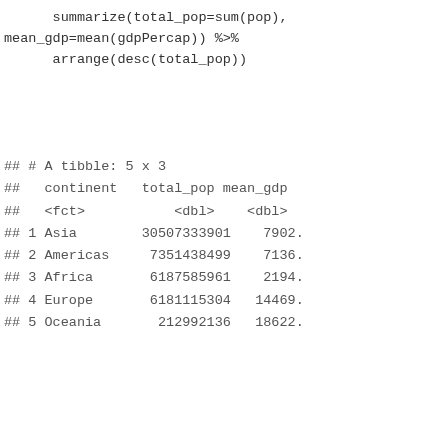summarize(total_pop=sum(pop),
mean_gdp=mean(gdpPercap)) %>%
      arrange(desc(total_pop))
## # A tibble: 5 x 3
##   continent   total_pop mean_gdp
##   <fct>           <dbl>    <dbl>
## 1 Asia        30507333901    7902.
## 2 Americas     7351438499    7136.
## 3 Africa       6187585961    2194.
## 4 Europe       6181115304   14469.
## 5 Oceania       212992136   18622.
Advertisements
[Figure (infographic): Seamless food delivery advertisement banner with pizza image, Seamless logo in red, and ORDER NOW button]